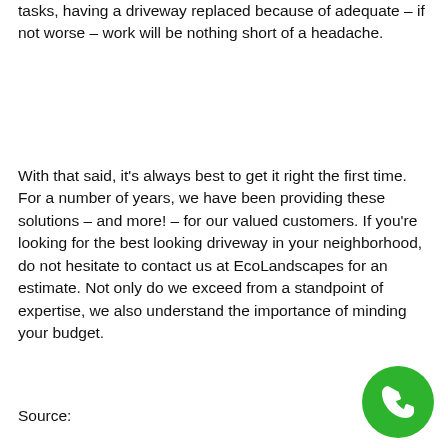tasks, having a driveway replaced because of adequate – if not worse – work will be nothing short of a headache.
With that said, it's always best to get it right the first time. For a number of years, we have been providing these solutions – and more! – for our valued customers. If you're looking for the best looking driveway in your neighborhood, do not hesitate to contact us at EcoLandscapes for an estimate. Not only do we exceed from a standpoint of expertise, we also understand the importance of minding your budget.
Source:
[Figure (illustration): Green circular phone/call button icon in the bottom-right corner]